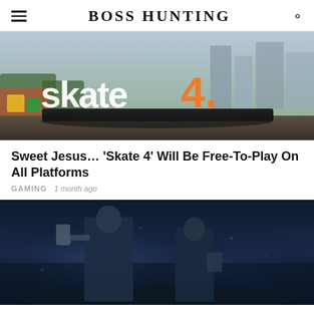BOSS HUNTING
[Figure (photo): Screenshot from Skate 4 game showing 'skate 4.' logo text with the number 4 in orange, set against an urban skate park environment with city buildings in the background]
Sweet Jesus… 'Skate 4' Will Be Free-To-Play On All Platforms
GAMING  1 month ago
[Figure (photo): Screenshot or promotional art from God of War featuring Kratos holding an axe and Atreus with armor, set against a dark blue misty background]